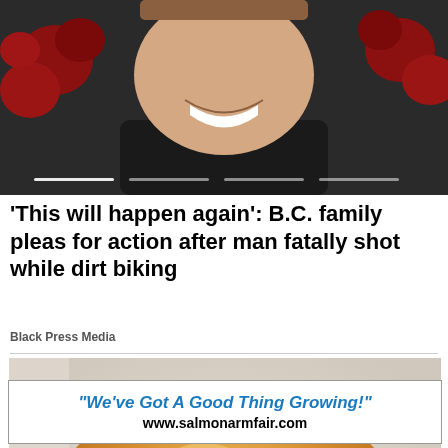[Figure (photo): Close-up photo of a smiling man with red flowers in background, partially cropped; slideshow with navigation dots at bottom]
'This will happen again': B.C. family pleas for action after man fatally shot while dirt biking
Black Press Media
[Figure (photo): Close-up photo of a cheeseburger with double patties, cheese, and pickles on white wrapper]
"We've Got A Good Thing Growing!" www.salmonarmfair.com